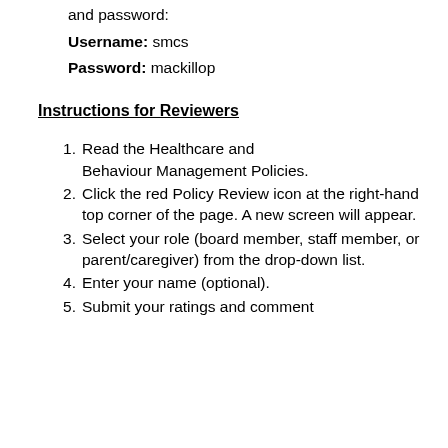and password:
Username: smcs
Password: mackillop
Instructions for Reviewers
Read the Healthcare and Behaviour Management Policies.
Click the red Policy Review icon at the right-hand top corner of the page. A new screen will appear.
Select your role (board member, staff member, or parent/caregiver) from the drop-down list.
Enter your name (optional).
Submit your ratings and comment